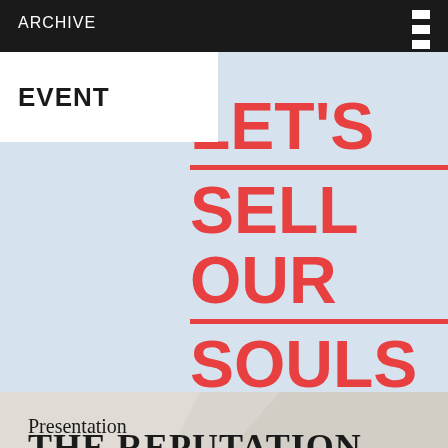ARCHIVE
EVENT
[Figure (illustration): Light blue background with large bold red text reading 'LET'S SELL OUR SOULS ONLINE' arranged in stacked lines with red underlines beneath each line. Text is partially cropped on the right side.]
Presentation
THE REPUTATION